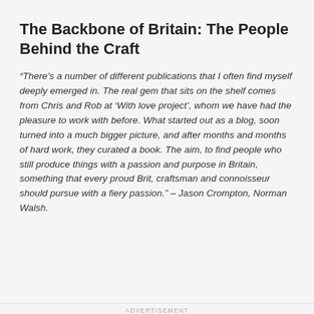The Backbone of Britain: The People Behind the Craft
“There’s a number of different publications that I often find myself deeply emerged in. The real gem that sits on the shelf comes from Chris and Rob at ‘With love project’, whom we have had the pleasure to work with before. What started out as a blog, soon turned into a much bigger picture, and after months and months of hard work, they curated a book. The aim, to find people who still produce things with a passion and purpose in Britain, something that every proud Brit, craftsman and connoisseur should pursue with a fiery passion.” – Jason Crompton, Norman Walsh.
ADVERTISEMENT